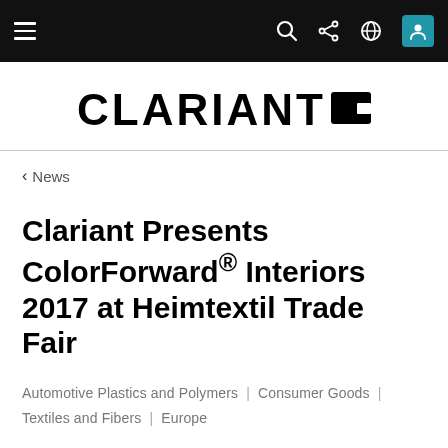Clariant navigation bar with hamburger menu, search, share, globe, and user icons
[Figure (logo): Clariant logo — bold black text CLARIANT with a black square icon containing a white cutout on the right]
< News
Clariant Presents ColorForward® Interiors 2017 at Heimtextil Trade Fair
Automotive Plastics and Polymers | Consumer Goods | Textiles and Fibers | Europe